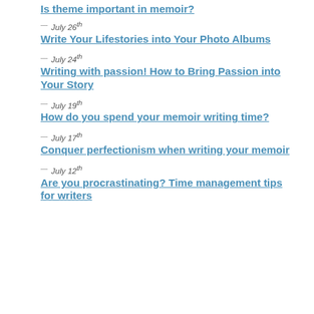Is theme important in memoir?
July 26th
Write Your Lifestories into Your Photo Albums
July 24th
Writing with passion! How to Bring Passion into Your Story
July 19th
How do you spend your memoir writing time?
July 17th
Conquer perfectionism when writing your memoir
July 12th
Are you procrastinating? Time management tips for writers